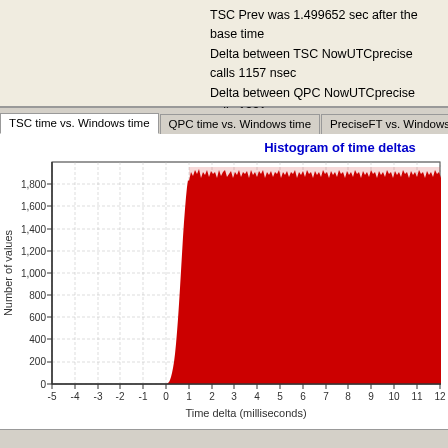TSC Prev was 1.499652 sec after the base time
Delta between TSC NowUTCprecise calls 1157 nsec
Delta between QPC NowUTCprecise calls 1331 nsec
Delta between ..TimePrecise.. calls 16 nsec
TSC time vs. Windows time | QPC time vs. Windows time | PreciseFT vs. Windows time | N
[Figure (continuous-plot): Histogram showing time deltas in milliseconds on the x-axis (from -5 to 12+) and number of values on the y-axis (0 to ~1,900). The distribution is heavily right-skewed with nearly zero values below 0ms and a sharp spike around 0-1ms that quickly saturates near 1,900 values, remaining at that level across the entire positive range. The bars appear red and very dense, forming a nearly solid band from about 1ms onward at approximately 1,800-1,950 count level.]